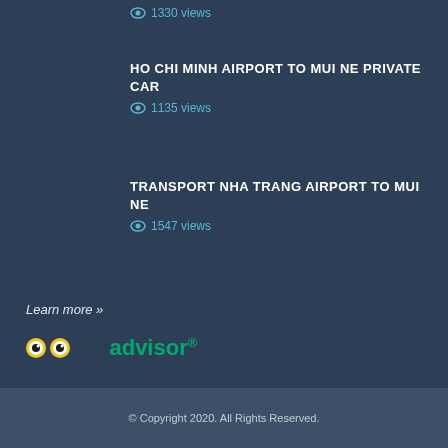1330 views
HO CHI MINH AIRPORT TO MUI NE PRIVATE CAR
1135 views
TRANSPORT NHA TRANG AIRPORT TO MUI NE
1547 views
Learn more »
[Figure (logo): TripAdvisor logo with owl eyes icon]
© Copyright 2020. All Rights Reserved.